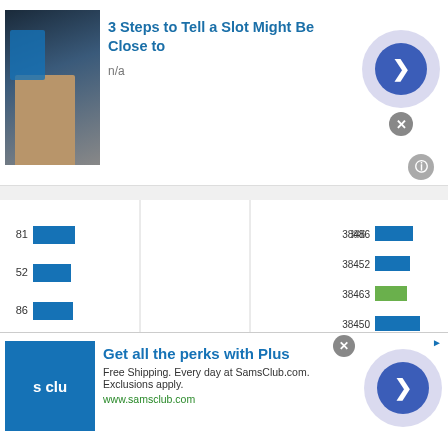[Figure (screenshot): Top advertisement banner: '3 Steps to Tell a Slot Might Be Close to' with thumbnail image of slot machine and person, n/a subtitle, navigation arrow button]
[Figure (bar-chart): Horizontal bar chart with two sets of bars — left side showing values labeled 81, 52, 86, 63, 50, 69, 34 and right side showing codes 38486, 38452, 38463, 38450, 38469, 38481, United States, Tennessee, 35634. Blue and green bars on left; blue, green, and gray bars on right.]
[Figure (screenshot): Bottom advertisement: Sam's Club 'Get all the perks with Plus' — Free Shipping. Every day at SamsClub.com. Exclusions apply. www.samsclub.com]